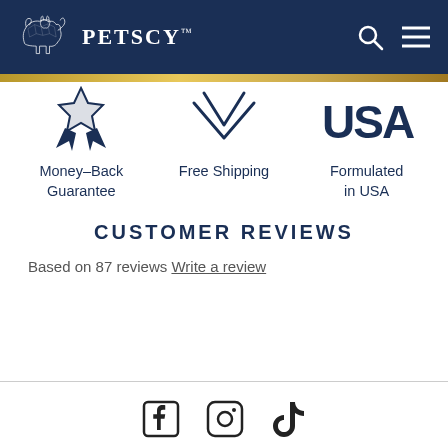[Figure (logo): PetScy logo with white dog and cat silhouette icon and PetScy wordmark on dark navy header]
[Figure (infographic): Three feature icons: ribbon (Money-Back Guarantee), checkmark shield (Free Shipping), USA letters (Formulated in USA)]
CUSTOMER REVIEWS
Based on 87 reviews Write a review
Social media icons: Facebook, Instagram, TikTok